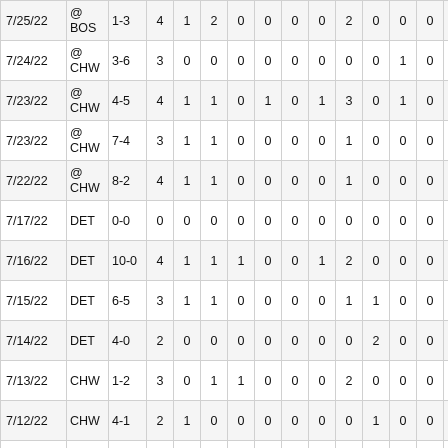| Date | Opp | Score | AB | R | H | 2B | 3B | HR | RBI | BB | SO | SB |  |
| --- | --- | --- | --- | --- | --- | --- | --- | --- | --- | --- | --- | --- | --- |
| 7/25/22 | @ BOS | 1-3 | 4 | 1 | 2 | 0 | 0 | 0 | 0 | 2 | 0 | 0 | 0 |  |
| 7/24/22 | @ CHW | 3-6 | 3 | 0 | 0 | 0 | 0 | 0 | 0 | 0 | 0 | 1 | 0 |  |
| 7/23/22 | @ CHW | 4-5 | 4 | 1 | 1 | 0 | 1 | 0 | 1 | 3 | 0 | 1 | 0 |  |
| 7/23/22 | @ CHW | 7-4 | 3 | 1 | 1 | 0 | 0 | 0 | 0 | 1 | 0 | 0 | 0 |  |
| 7/22/22 | @ CHW | 8-2 | 4 | 1 | 1 | 0 | 0 | 0 | 0 | 1 | 0 | 0 | 0 |  |
| 7/17/22 | DET | 0-0 | 0 | 0 | 0 | 0 | 0 | 0 | 0 | 0 | 0 | 0 | 0 |  |
| 7/16/22 | DET | 10-0 | 4 | 1 | 1 | 1 | 0 | 0 | 1 | 2 | 0 | 0 | 0 |  |
| 7/15/22 | DET | 6-5 | 3 | 1 | 1 | 0 | 0 | 0 | 0 | 1 | 1 | 0 | 0 |  |
| 7/14/22 | DET | 4-0 | 2 | 0 | 0 | 0 | 0 | 0 | 0 | 0 | 2 | 0 | 0 |  |
| 7/13/22 | CHW | 1-2 | 3 | 0 | 1 | 1 | 0 | 0 | 0 | 2 | 0 | 0 | 0 |  |
| 7/12/22 | CHW | 4-1 | 2 | 1 | 0 | 0 | 0 | 0 | 0 | 0 | 1 | 0 | 0 |  |
| 7/11/22 | CHW | 8-4 | 4 | 0 | 2 | 0 | 0 | 0 | 3 | 2 | 0 | 0 | 0 |  |